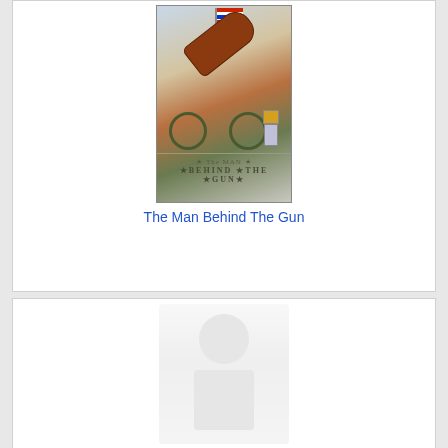[Figure (illustration): Vintage patriotic postcard illustration showing a large cannon with an American flag and a small Uncle Sam figure, with text 'The MAN BEHIND THE GUN' printed on the postcard]
The Man Behind The Gun
[Figure (photo): Faded/washed out image, appears to be a portrait or figure, very low contrast and nearly white]